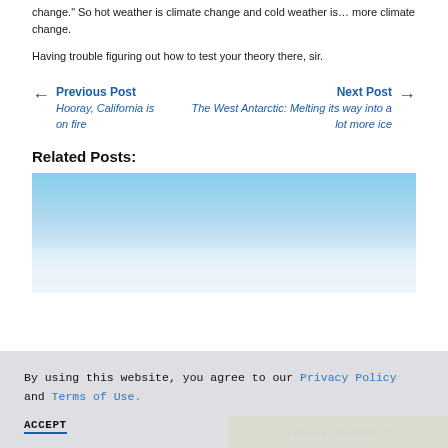change." So hot weather is climate change and cold weather is… more climate change.
Having trouble figuring out how to test your theory there, sir.
Previous Post
Hooray, California is on fire
← Next Post
The West Antarctic: Melting its way into a lot more ice →
Related Posts:
[Figure (photo): Photo of Antarctic ice/snow landscape with blue sky]
By using this website, you agree to our Privacy Policy and Terms of Use.
ACCEPT
Leave a Comment